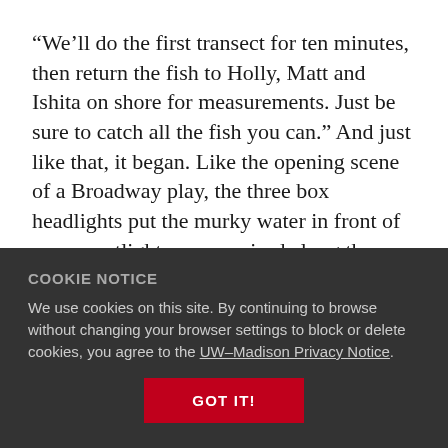“We’ll do the first transect for ten minutes, then return the fish to Holly, Matt and Ishita on shore for measurements. Just be sure to catch all the fish you can.” And just like that, it began. Like the opening scene of a Broadway play, the three box headlights put the murky water in front of us on spotlight as we cruised along the lake’s littoral zone—just off of the shoreline—making the lily pads look as if they glowed in the dark.
COOKIE NOTICE
We use cookies on this site. By continuing to browse without changing your browser settings to block or delete cookies, you agree to the UW–Madison Privacy Notice.
GOT IT!